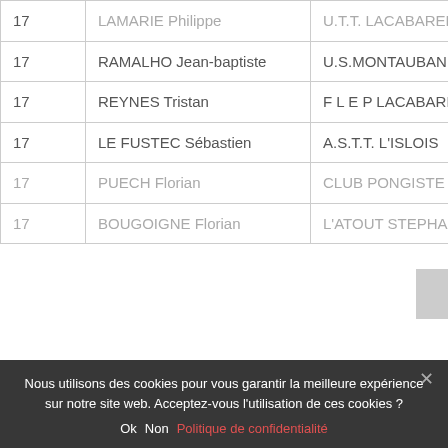| # | Nom | Club |
| --- | --- | --- |
| 17 | RAMALHO Jean-baptiste | U.S.MONTAUBAN T.T. |
| 17 | REYNES Tristan | F L E P LACABAREDE |
| 17 | LE FUSTEC Sébastien | A.S.T.T. L'ISLOIS |
| 17 | PUECH Florian | CLUB PONGISTE ... |
| 17 | BOUGOIGNE Florian | L'ATOUT STEPHANOIS |
Nous utilisons des cookies pour vous garantir la meilleure expérience sur notre site web. Acceptez-vous l'utilisation de ces cookies ?
Ok  Non  Politique de confidentialité